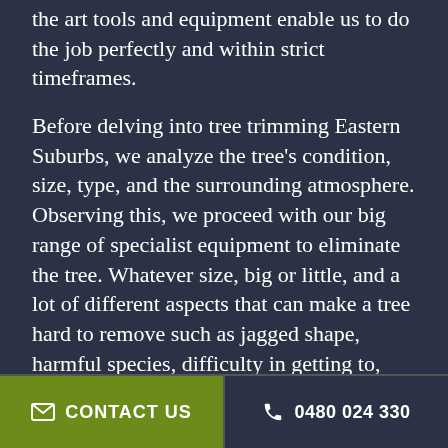the art tools and equipment enable us to do the job perfectly and within strict timeframes.
Before delving into tree trimming Eastern Suburbs, we analyze the tree's condition, size, type, and the surrounding atmosphere. Observing this, we proceed with our big range of specialist equipment to eliminate the tree. Whatever size, big or little, and a lot of different aspects that can make a tree hard to remove such as jagged shape, harmful species, difficulty in getting to, and so on, we have what it takes.
Eastern Suburbs Arborist is your favorite choice for expert tree services in Eastern Suburbs. Our staff is highly trained in the industry and provides 100% client satisfaction. Our service is popular all across the Eastern Suburbs and
CONTACT US   0480 024 330